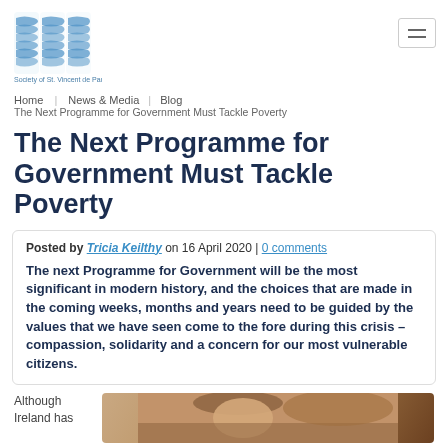[Figure (logo): SVP Society of St. Vincent de Paul logo — blue geometric letters SVP with wavy line pattern]
Home   News & Media   Blog
The Next Programme for Government Must Tackle Poverty
The Next Programme for Government Must Tackle Poverty
Posted by Tricia Keilthy on 16 April 2020 | 0 comments
The next Programme for Government will be the most significant in modern history, and the choices that are made in the coming weeks, months and years need to be guided by the values that we have seen come to the fore during this crisis – compassion, solidarity and a concern for our most vulnerable citizens.
Although Ireland has
[Figure (photo): Portrait photo of a woman, partially visible]